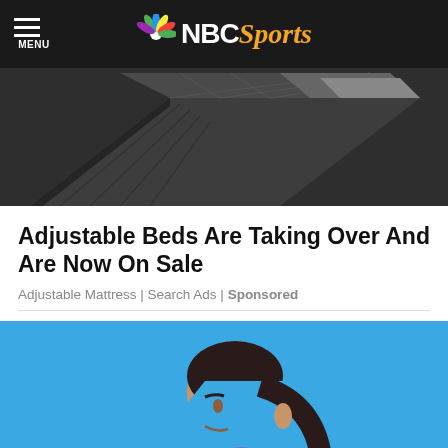NBC Sports
[Figure (photo): Dark gray quilted mattress/couch viewed from above corner angle]
Adjustable Beds Are Taking Over And Are Now On Sale
Adjustable Mattress | Search Ads | Sponsored
[Figure (photo): Woman in pink sports bra on bright blue background, appearing to clutch chest area]